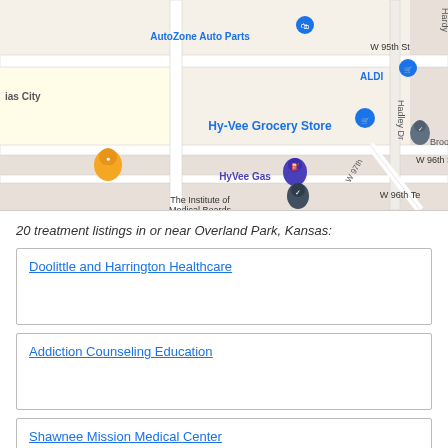[Figure (map): Google Maps view showing Overland Park, Kansas area with landmarks including AutoZone Auto Parts, ALDI, Hy-Vee Grocery Store, HyVee Gas, The Institute of Medical Boards, and street labels including W 95th St, W 96th St, Hadley Dr, W 97th, W 96th Te]
20 treatment listings in or near Overland Park, Kansas:
Doolittle and Harrington Healthcare
Addiction Counseling Education
Shawnee Mission Medical Center